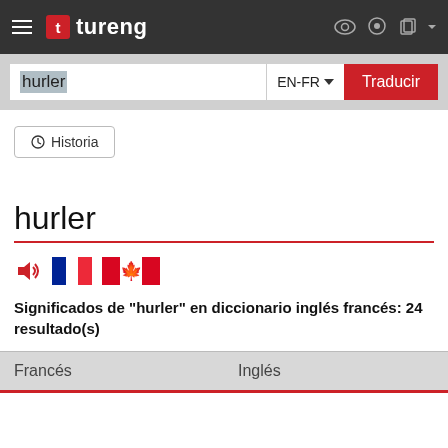tureng
hurler | EN-FR | Traducir
Historia
hurler
Significados de "hurler" en diccionario inglés francés: 24 resultado(s)
| Francés | Inglés |
| --- | --- |